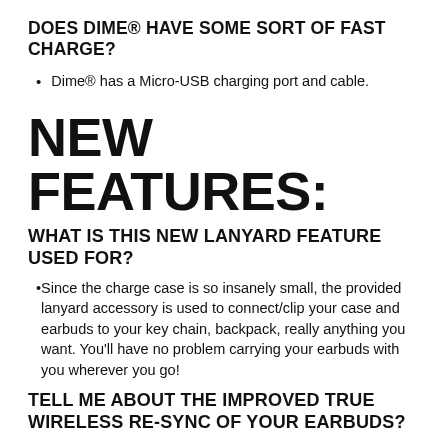DOES DIME® HAVE SOME SORT OF FAST CHARGE?
Dime® has a Micro-USB charging port and cable.
NEW FEATURES:
WHAT IS THIS NEW LANYARD FEATURE USED FOR?
Since the charge case is so insanely small, the provided lanyard accessory is used to connect/clip your case and earbuds to your key chain, backpack, really anything you want. You'll have no problem carrying your earbuds with you wherever you go!
TELL ME ABOUT THE IMPROVED TRUE WIRELESS RE-SYNC OF YOUR EARBUDS?